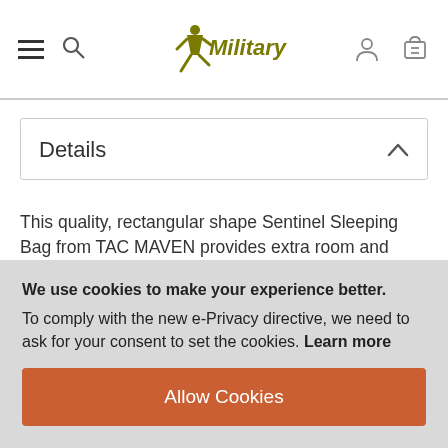Military 1st navigation header with hamburger menu, search icon, logo, account icon, and cart icon
Details
This quality, rectangular shape Sentinel Sleeping Bag from TAC MAVEN provides extra room and excellent thermal insulation. It comes with an adjustable hood, two-way zipper, and a transportation bag. The inside pocket with hook-and-loop closure allows for secured storage for valuable items. Fully unzipped can be used as a blanket providing a handy feature during many outdoor activities. This sleeping bag comes with
We use cookies to make your experience better. To comply with the new e-Privacy directive, we need to ask for your consent to set the cookies. Learn more
Allow Cookies